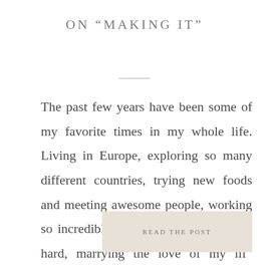ON “MAKING IT”
The past few years have been some of my favorite times in my whole life. Living in Europe, exploring so many different countries, trying new foods and meeting awesome people, working so incredibly hard and relaxing just as hard, marrying the love of my life, documenting amazing moments in people [...]